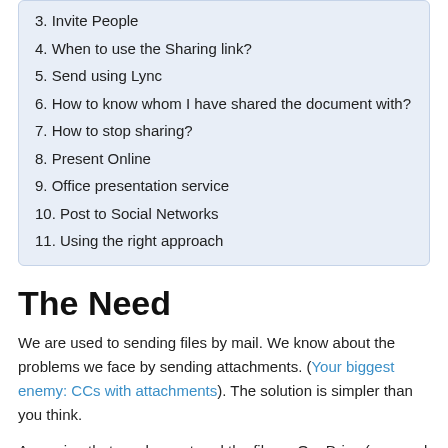3. Invite People
4. When to use the Sharing link?
5. Send using Lync
6. How to know whom I have shared the document with?
7. How to stop sharing?
8. Present Online
9. Office presentation service
10. Post to Social Networks
11. Using the right approach
The Need
We are used to sending files by mail. We know about the problems we face by sending attachments. (Your biggest enemy: CCs with attachments). The solution is simpler than you think.
Assuming that you have stored the file on OneDrive (personal or business version), you get some really powerful options